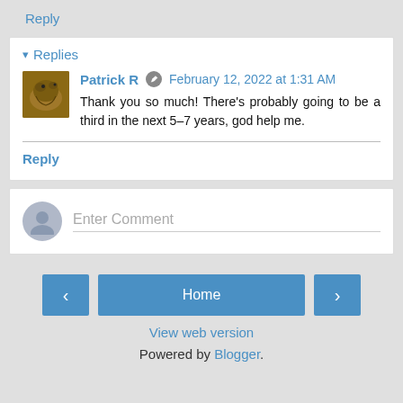Reply
▾ Replies
Patrick R  ✎  February 12, 2022 at 1:31 AM
Thank you so much! There's probably going to be a third in the next 5–7 years, god help me.
Reply
Enter Comment
Home
View web version
Powered by Blogger.